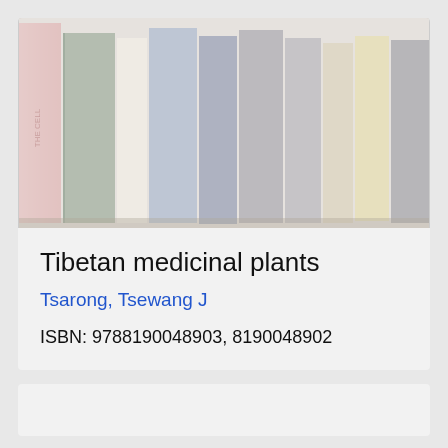[Figure (photo): A row of books on a shelf, seen from the side, showing various colored spines including red, green, blue, and yellow books. The image is faded/washed out with a light overlay.]
Tibetan medicinal plants
Tsarong, Tsewang J
ISBN: 9788190048903, 8190048902